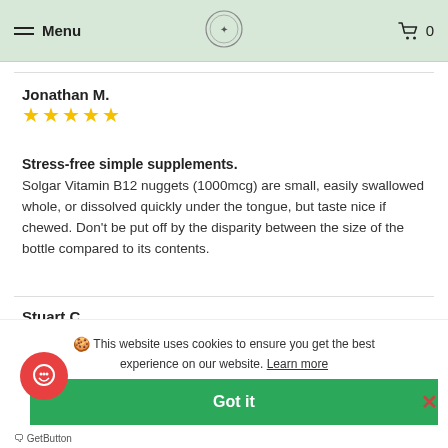Menu | [logo] | 🛒 0
Jonathan M.
★★★★★
Stress-free simple supplements. Solgar Vitamin B12 nuggets (1000mcg) are small, easily swallowed whole, or dissolved quickly under the tongue, but taste nice if chewed. Don't be put off by the disparity between the size of the bottle compared to its contents.
Stuart C.
★★★★★
🍪 This website uses cookies to ensure you get the best experience on our website. Learn more
Got it